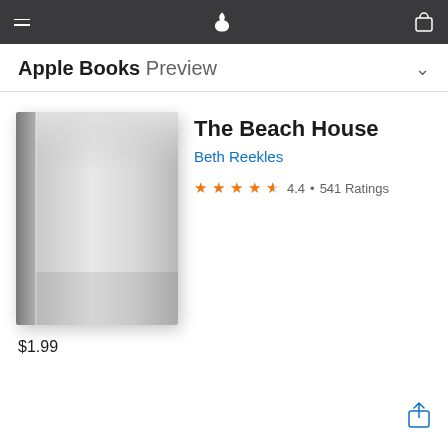Apple Books Preview
The Beach House
Beth Reekles
4.4 • 541 Ratings
[Figure (illustration): Gray blank book cover with gradient shading suggesting a hardcover book spine on the left and front face.]
$1.99